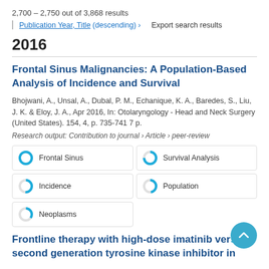2,700 – 2,750 out of 3,868 results
Publication Year, Title (descending) ›   Export search results
2016
Frontal Sinus Malignancies: A Population-Based Analysis of Incidence and Survival
Bhojwani, A., Unsal, A., Dubal, P. M., Echanique, K. A., Baredes, S., Liu, J. K. & Eloy, J. A., Apr 2016, In: Otolaryngology - Head and Neck Surgery (United States). 154, 4, p. 735-741 7 p.
Research output: Contribution to journal › Article › peer-review
Frontal Sinus
Survival Analysis
Incidence
Population
Neoplasms
Frontline therapy with high-dose imatinib versus second generation tyrosine kinase inhibitor in